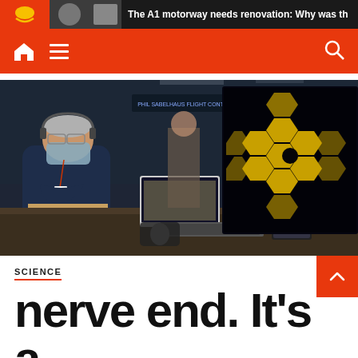The A1 motorway needs renovation: Why was th
[Figure (screenshot): Navigation bar with orange background showing home icon, hamburger menu icon, and search icon]
[Figure (photo): A man wearing a headset and blue face mask sits at a control room desk with multiple monitors. The large right monitor displays the hexagonal gold mirror pattern of the James Webb Space Telescope. Other screens show mission data. A woman stands in the background. The room has signage reading 'Phil Sabelhaus Flight Control Room'.]
SCIENCE
nerve end. It's a